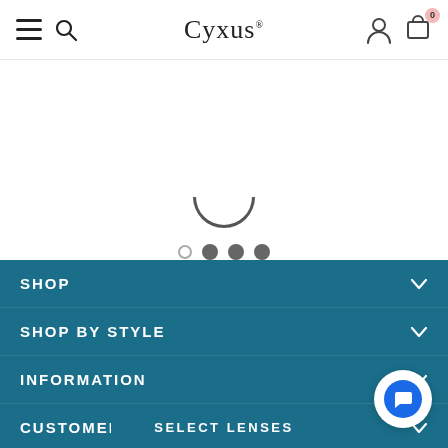Cyxus
[Figure (screenshot): Partial bottom of a product image showing a curve/bottom of eyeglasses frame, with carousel navigation dots below (one empty, three filled)]
SHOP
SHOP BY STYLE
INFORMATION
CUSTOMER SERVICE
SELECT LENSES